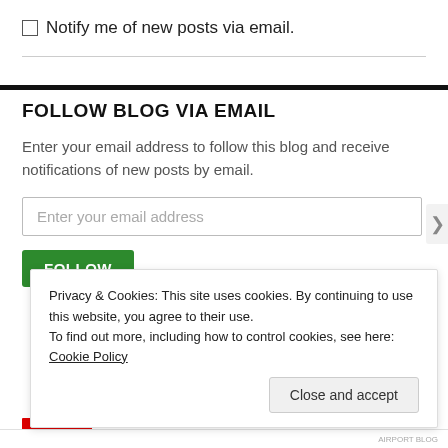Notify me of new posts via email.
FOLLOW BLOG VIA EMAIL
Enter your email address to follow this blog and receive notifications of new posts by email.
Enter your email address
FOLLOW
Privacy & Cookies: This site uses cookies. By continuing to use this website, you agree to their use.
To find out more, including how to control cookies, see here: Cookie Policy
Close and accept